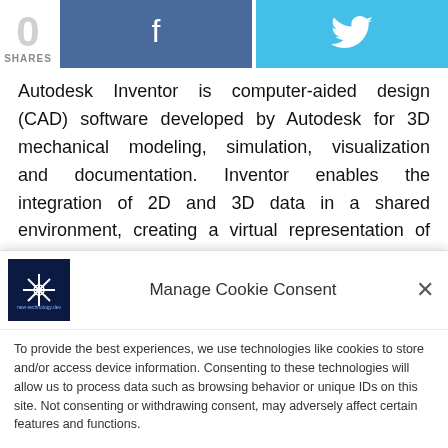[Figure (other): Share bar with count '0 SHARES', Facebook button with f icon, Twitter button with bird icon]
Autodesk Inventor is computer-aided design (CAD) software developed by Autodesk for 3D mechanical modeling, simulation, visualization and documentation. Inventor enables the integration of 2D and 3D data in a shared environment, creating a virtual representation of the final parts that allows users to verify the its
Manage Cookie Consent
To provide the best experiences, we use technologies like cookies to store and/or access device information. Consenting to these technologies will allow us to process data such as browsing behavior or unique IDs on this site. Not consenting or withdrawing consent, may adversely affect certain features and functions.